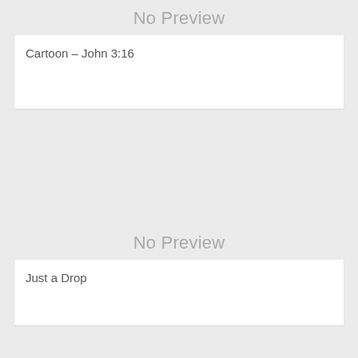No Preview
Cartoon – John 3:16
[Figure (other): No Preview placeholder area for a second image]
Just a Drop